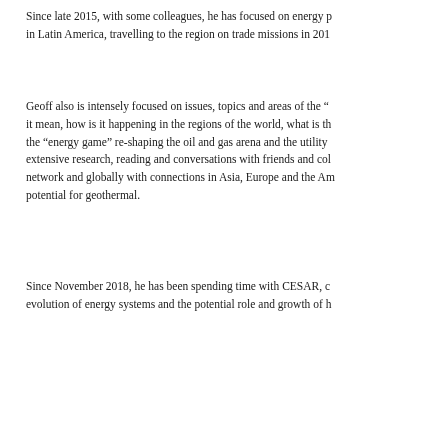Since late 2015, with some colleagues, he has focused on energy p... in Latin America, travelling to the region on trade missions in 201...
Geoff also is intensely focused on issues, topics and areas of the “... it mean, how is it happening in the regions of the world, what is th... the “energy game” re-shaping the oil and gas arena and the utility... extensive research, reading and conversations with friends and col... network and globally with connections in Asia, Europe and the Am... potential for geothermal.
Since November 2018, he has been spending time with CESAR, c... evolution of energy systems and the potential role and growth of h...